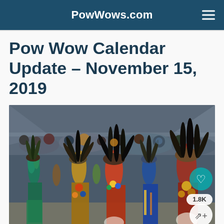PowWows.com
Pow Wow Calendar Update – November 15, 2019
[Figure (photo): Photograph of Native American dancers in colorful traditional regalia including feathered headdresses and beaded costumes at a pow wow event, with a crowd of spectators visible in the background.]